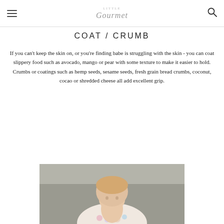Little Gourmet (logo) / hamburger menu / search icon
COAT / CRUMB
If you can't keep the skin on, or you're finding babe is struggling with the skin - you can coat slippery food such as avocado, mango or pear with some texture to make it easier to hold. Crumbs or coatings such as hemp seeds, sesame seeds, fresh grain bread crumbs, coconut, cocao or shredded cheese all add excellent grip.
[Figure (photo): Photo of a young baby/toddler from the neck up, wearing a floral shirt, with a blurred outdoor background]